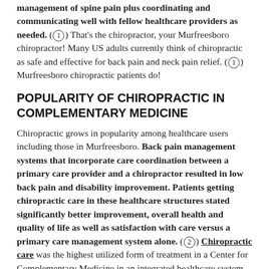management of spine pain plus coordinating and communicating well with fellow healthcare providers as needed. (1) That's the chiropractor, your Murfreesboro chiropractor! Many US adults currently think of chiropractic as safe and effective for back pain and neck pain relief. (1) Murfreesboro chiropractic patients do!
POPULARITY OF CHIROPRACTIC IN COMPLEMENTARY MEDICINE
Chiropractic grows in popularity among healthcare users including those in Murfreesboro. Back pain management systems that incorporate care coordination between a primary care provider and a chiropractor resulted in low back pain and disability improvement. Patients getting chiropractic care in these healthcare structures stated significantly better improvement, overall health and quality of life as well as satisfaction with care versus a primary care management system alone. (2) Chiropractic care was the highest utilized form of treatment in a Center for Complementary Medicine in an integrated healthcare system, being utilized by approximately 67% of patients